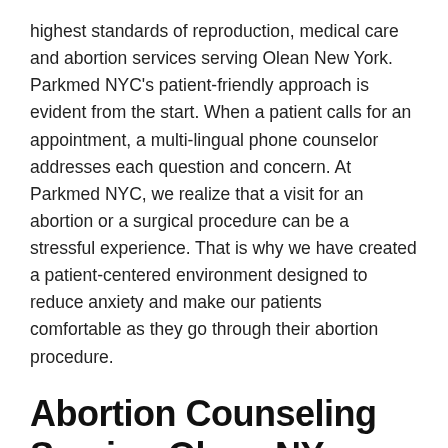highest standards of reproduction, medical care and abortion services serving Olean New York. Parkmed NYC's patient-friendly approach is evident from the start. When a patient calls for an appointment, a multi-lingual phone counselor addresses each question and concern. At Parkmed NYC, we realize that a visit for an abortion or a surgical procedure can be a stressful experience. That is why we have created a patient-centered environment designed to reduce anxiety and make our patients comfortable as they go through their abortion procedure.
Abortion Counseling Serving Olean NY
At Parkmed NYC, individual abortion counseling is available to all patients and offered by trained and sensitive professionals who have been chosen because